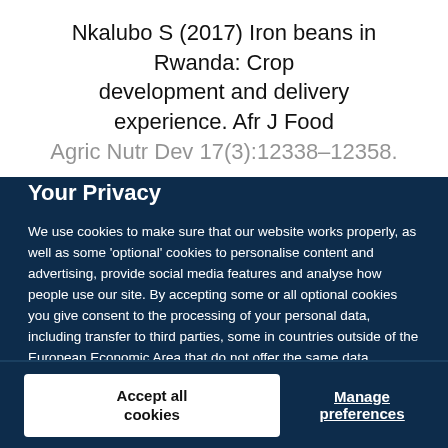Nkalubo S (2017) Iron beans in Rwanda: Crop development and delivery experience. Afr J Food Agric Nutr Dev 17(3):12338–12358.
Your Privacy
We use cookies to make sure that our website works properly, as well as some 'optional' cookies to personalise content and advertising, provide social media features and analyse how people use our site. By accepting some or all optional cookies you give consent to the processing of your personal data, including transfer to third parties, some in countries outside of the European Economic Area that do not offer the same data protection standards as the country where you live. You can decide which optional cookies to accept by clicking on 'Manage Settings', where you can also find more information about how your personal data is processed. Further information can be found in our privacy policy.
Accept all cookies
Manage preferences